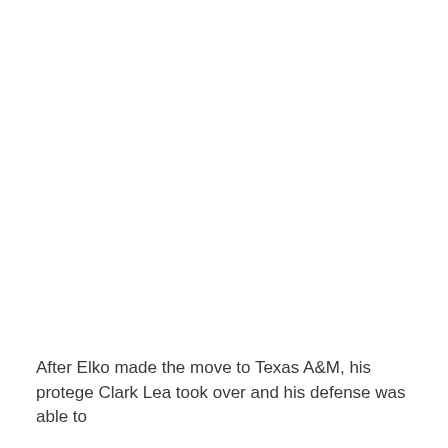After Elko made the move to Texas A&M, his protege Clark Lea took over and his defense was able to